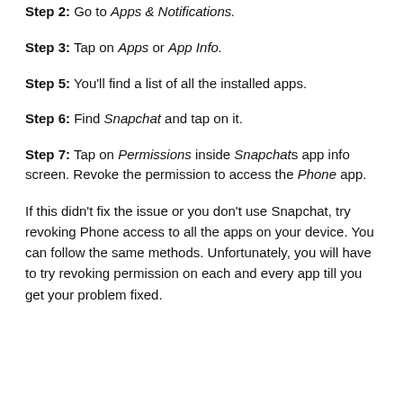Step 2: Go to Apps & Notifications.
Step 3: Tap on Apps or App Info.
Step 5: You'll find a list of all the installed apps.
Step 6: Find Snapchat and tap on it.
Step 7: Tap on Permissions inside Snapchat's app info screen. Revoke the permission to access the Phone app.
If this didn't fix the issue or you don't use Snapchat, try revoking Phone access to all the apps on your device. You can follow the same methods. Unfortunately, you will have to try revoking permission on each and every app till you get your problem fixed.